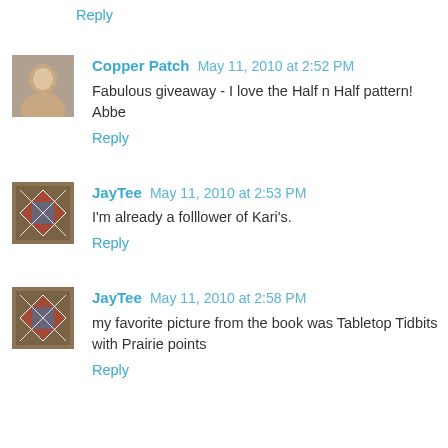Reply
Copper Patch  May 11, 2010 at 2:52 PM
Fabulous giveaway - I love the Half n Half pattern!
Abbe
Reply
JayTee  May 11, 2010 at 2:53 PM
I'm already a folllower of Kari's.
Reply
JayTee  May 11, 2010 at 2:58 PM
my favorite picture from the book was Tabletop Tidbits with Prairie points
Reply